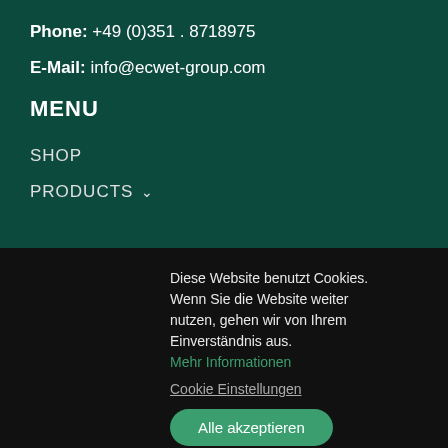Phone: +49 (0)351 . 8718975
E-Mail: info@ecwet-group.com
MENU
SHOP
PRODUCTS ˅
Diese Website benutzt Cookies. Wenn Sie die Website weiter nutzen, gehen wir von Ihrem Einverständnis aus. Mehr Informationen
Cookie Einstellungen
Alle akzeptieren